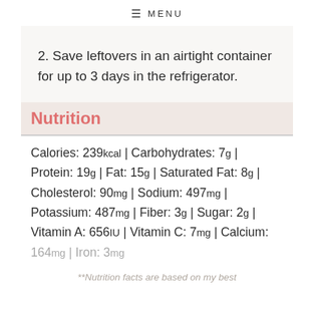≡ MENU
2. Save leftovers in an airtight container for up to 3 days in the refrigerator.
Nutrition
Calories: 239kcal | Carbohydrates: 7g | Protein: 19g | Fat: 15g | Saturated Fat: 8g | Cholesterol: 90mg | Sodium: 497mg | Potassium: 487mg | Fiber: 3g | Sugar: 2g | Vitamin A: 656IU | Vitamin C: 7mg | Calcium: 164mg | Iron: 3mg
**Nutrition facts are based on my best